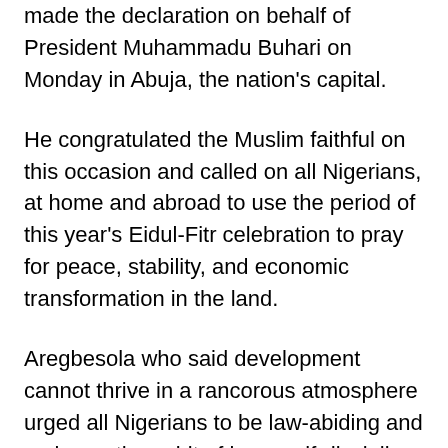made the declaration on behalf of President Muhammadu Buhari on Monday in Abuja, the nation's capital.
He congratulated the Muslim faithful on this occasion and called on all Nigerians, at home and abroad to use the period of this year's Eidul-Fitr celebration to pray for peace, stability, and economic transformation in the land.
Aregbesola who said development cannot thrive in a rancorous atmosphere urged all Nigerians to be law-abiding and embrace the spirit of love, self-discipline, kindness, and tolerance, as taught by the Holy Prophet Mohammed (Peace Be upon